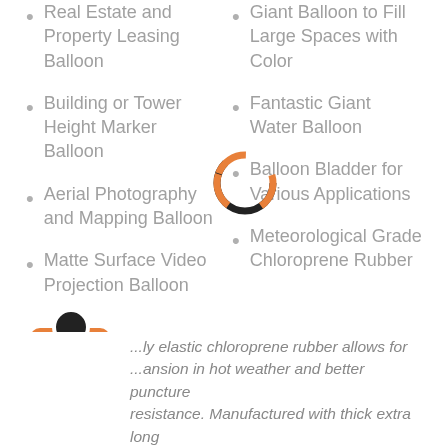Real Estate and Property Leasing Balloon
Giant Balloon to Fill Large Spaces with Color
Building or Tower Height Marker Balloon
Fantastic Giant Water Balloon
Aerial Photography and Mapping Balloon
Balloon Bladder for Various Applications
Matte Surface Video Projection Balloon
Meteorological Grade Chloroprene Rubber
...ly elastic chloroprene rubber allows for ...ansion in hot weather and better puncture resistance. Manufactured with thick extra long